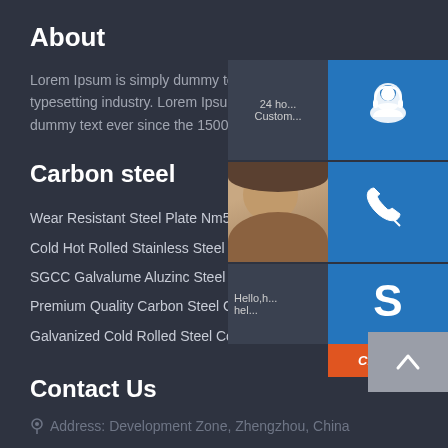About
Lorem Ipsum is simply dummy text of the printing and typesetting industry. Lorem Ipsum has been the standard dummy text ever since the 1500s.
Carbon steel
Wear Resistant Steel Plate Nm500 Scrap Breake...
Cold Hot Rolled Stainless Steel Coil ASTM AISI 2...
SGCC Galvalume Aluzinc Steel Coil Zinc Coated...
Premium Quality Carbon Steel Coil From China Supplier...
Galvanized Cold Rolled Steel Coil DC01 DC02 DC03 DC04...
Contact Us
Address: Development Zone, Zhengzhou, China
[Figure (screenshot): Overlay widget panel with customer service icon (headset), phone icon, Skype icon with 'Chat Now' button, and back-to-top arrow. Also shows partial '24 ho... Custom...' label and 'Hello, h... hel...' label, and a partial photo of a smiling woman.]